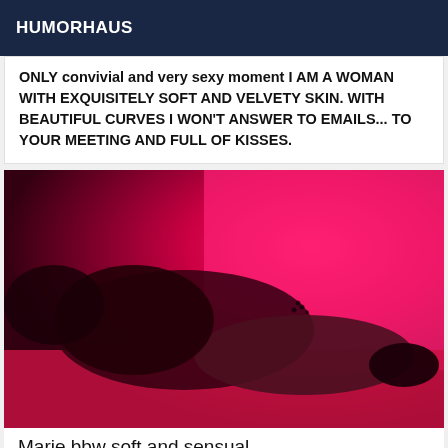HUMORHAUS
ONLY convivial and very sexy moment I AM A WOMAN WITH EXQUISITELY SOFT AND VELVETY SKIN. WITH BEAUTIFUL CURVES I WON'T ANSWER TO EMAILS... TO YOUR MEETING AND FULL OF KISSES.
[Figure (photo): Photo of a woman lying on a bed in a pink/red lit room, wearing dark lingerie. An 'Online' badge appears in the top-left corner of the image.]
Marie bbw soft and sensual